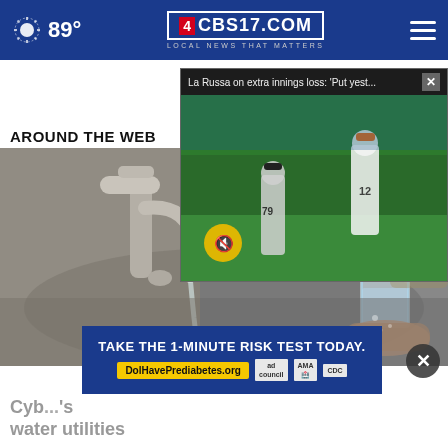89° CBS17.COM LOCAL NEWS THAT MATTERS
AROUND THE WEB
[Figure (screenshot): Video popup overlay showing baseball players on a field with title 'La Russa on extra innings loss: Put yest...' and a mute button]
[Figure (photo): Close-up photo of a kitchen faucet with a hand holding a glass of water being filled]
[Figure (infographic): Advertisement banner: TAKE THE 1-MINUTE RISK TEST TODAY. DolHavePrediabetes.org with ad council, AMA, and CDC logos]
Cyb... 's water utilities
water utilities